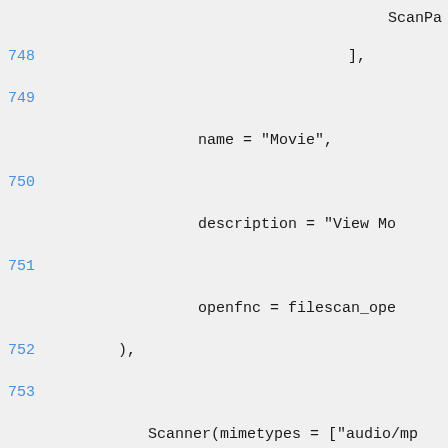ScanPa
748          ],
749
name = "Movie",
750
description = "View Mo
751
openfnc = filescan_ope
752              ),
753
Scanner(mimetypes = ["audio/mp
wav", "application/ogg"],
754
paths_to_scan =
755                              [
756
ScanPa
757                              ],
758
name = "Music",
759